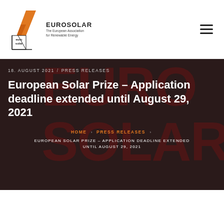[Figure (logo): EUROSOLAR logo: orange diagonal lines forming a stylized shape above a small square icon, with text 'EUROSOLAR' and 'The European Association for Renewable Energy']
European Solar Prize – Application deadline extended until August 29, 2021
18. AUGUST 2021  /  PRESS RELEASES
HOME › PRESS RELEASES › EUROPEAN SOLAR PRIZE – APPLICATION DEADLINE EXTENDED UNTIL AUGUST 29, 2021